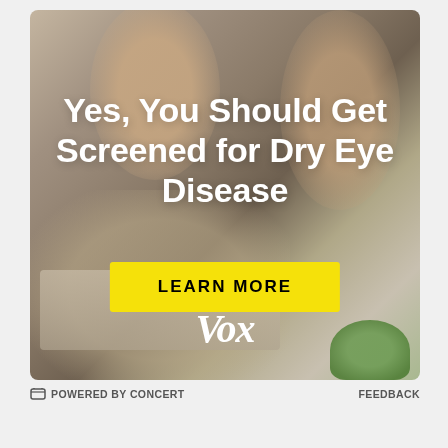[Figure (photo): Advertisement image showing a woman rubbing her eyes, suggesting eye discomfort. Background is blurred office/desk setting. Large white bold text overlay reads 'Yes, You Should Get Screened for Dry Eye Disease' with a yellow 'LEARN MORE' button and the Vox logo in white italic.]
POWERED BY CONCERT
FEEDBACK